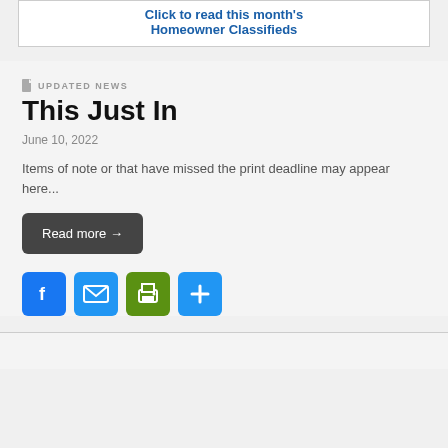[Figure (other): Click to read this month's Homeowner Classifieds banner link]
UPDATED NEWS
This Just In
June 10, 2022
Items of note or that have missed the print deadline may appear here...
Read more →
[Figure (infographic): Social sharing icons: Facebook, Email, Print, Share Plus]